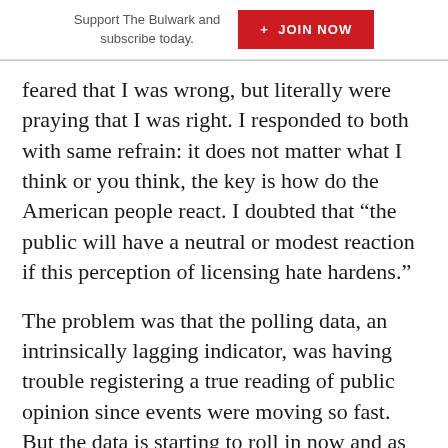Support The Bulwark and subscribe today.   + JOIN NOW
feared that I was wrong, but literally were praying that I was right. I responded to both with same refrain: it does not matter what I think or you think, the key is how do the American people react. I doubted that “the public will have a neutral or modest reaction if this perception of licensing hate hardens.”
The problem was that the polling data, an intrinsically lagging indicator, was having trouble registering a true reading of public opinion since events were moving so fast. But the data is starting to roll in now and as G. Elliott Morris,